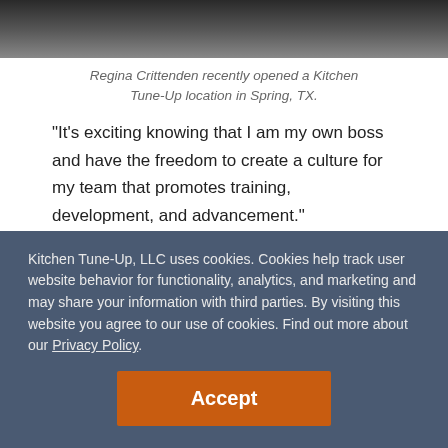[Figure (photo): Partial view of a dark sofa or kitchen furniture piece, cropped at top of frame]
Regina Crittenden recently opened a Kitchen Tune-Up location in Spring, TX.
“It’s exciting knowing that I am my own boss and have the freedom to create a culture for my team that promotes training, development, and advancement.”
Regina Crittenden took on her own Kitchen Tune-Up franchise location because she knew it was the next logical step for her career. After over a decade of experience mentoring, managing, and leading in both the U.S. Army
Kitchen Tune-Up, LLC uses cookies. Cookies help track user website behavior for functionality, analytics, and marketing and may share your information with third parties. By visiting this website you agree to our use of cookies. Find out more about our Privacy Policy.